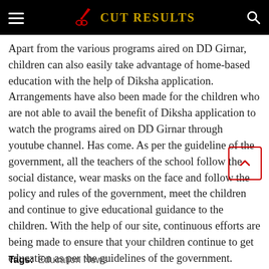CUT RESULTS
Apart from the various programs aired on DD Girnar, children can also easily take advantage of home-based education with the help of Diksha application. Arrangements have also been made for the children who are not able to avail the benefit of Diksha application to watch the programs aired on DD Girnar through youtube channel. Has come. As per the guideline of the government, all the teachers of the school follow the social distance, wear masks on the face and follow the policy and rules of the government, meet the children and continue to give educational guidance to the children. With the help of our site, continuous efforts are being made to ensure that your children continue to get education as per the guidelines of the government.
Tags:  Education News